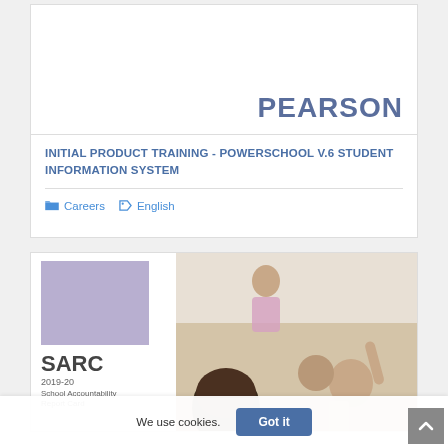[Figure (logo): PEARSON logo in blue-gray text, right-aligned in card header area]
INITIAL PRODUCT TRAINING - POWERSCHOOL V.6 STUDENT INFORMATION SYSTEM
Careers
English
[Figure (photo): SARC 2019-20 School Accountability Report Card cover image showing a classroom scene with students raising hands and a teacher at a whiteboard, alongside a purple graphic block]
We use cookies.